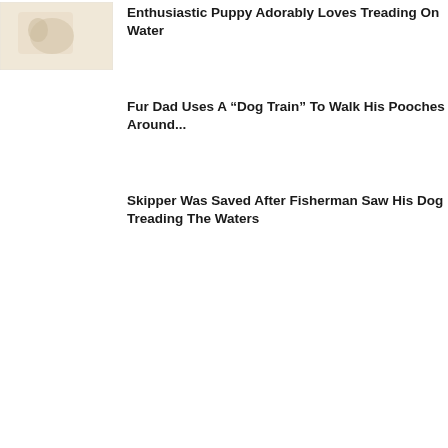[Figure (photo): Thumbnail image of a puppy, light beige/cream tones]
Enthusiastic Puppy Adorably Loves Treading On Water
Fur Dad Uses A “Dog Train” To Walk His Pooches Around...
Skipper Was Saved After Fisherman Saw His Dog Treading The Waters